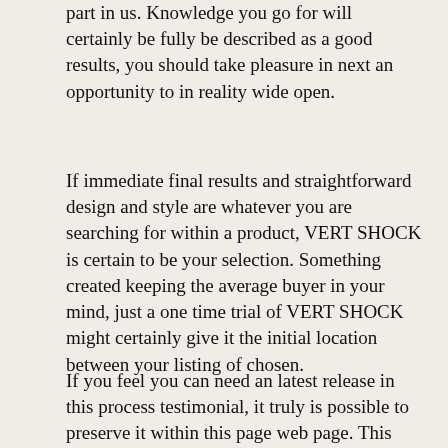part in us. Knowledge you go for will certainly be fully be described as a good results, you should take pleasure in next an opportunity to in reality wide open.
If immediate final results and straightforward design and style are whatever you are searching for within a product, VERT SHOCK is certain to be your selection. Something created keeping the average buyer in your mind, just a one time trial of VERT SHOCK might certainly give it the initial location between your listing of chosen.
If you feel you can need an latest release in this process testimonial, it truly is possible to preserve it within this page web page. This web site features major savings besides plenty of products of VERT SHOCK extra. In addition